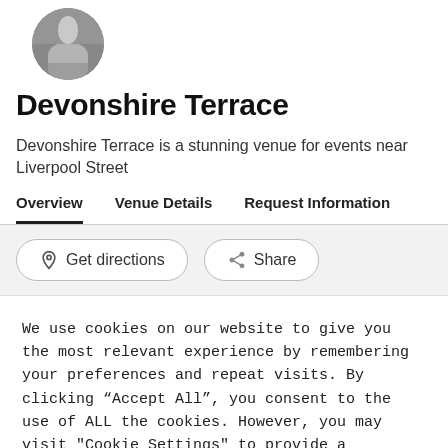[Figure (photo): Circular profile image of Devonshire Terrace venue showing an indoor event space with chandeliers]
Devonshire Terrace
Devonshire Terrace is a stunning venue for events near Liverpool Street
Overview   Venue Details   Request Information
Get directions   Share
We use cookies on our website to give you the most relevant experience by remembering your preferences and repeat visits. By clicking “Accept All”, you consent to the use of ALL the cookies. However, you may visit "Cookie Settings" to provide a controlled consent.
Cookie Settings   Accept All